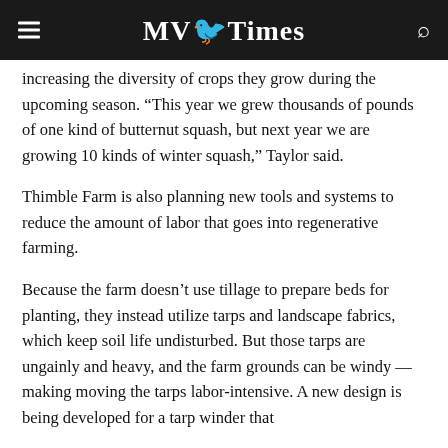MV Times
increasing the diversity of crops they grow during the upcoming season. “This year we grew thousands of pounds of one kind of butternut squash, but next year we are growing 10 kinds of winter squash,” Taylor said.
Thimble Farm is also planning new tools and systems to reduce the amount of labor that goes into regenerative farming.
Because the farm doesn’t use tillage to prepare beds for planting, they instead utilize tarps and landscape fabrics, which keep soil life undisturbed. But those tarps are ungainly and heavy, and the farm grounds can be windy — making moving the tarps labor-intensive. A new design is being developed for a tarp winder that